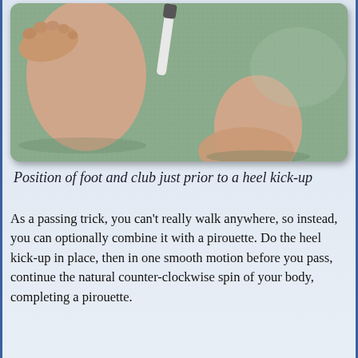[Figure (photo): Close-up photograph of a person's bare foot and lower leg on a green/grey carpet, with a juggling club visible near the ankle, showing the position just prior to a heel kick-up.]
Position of foot and club just prior to a heel kick-up
As a passing trick, you can't really walk anywhere, so instead, you can optionally combine it with a pirouette. Do the heel kick-up in place, then in one smooth motion before you pass, continue the natural counter-clockwise spin of your body, completing a pirouette.